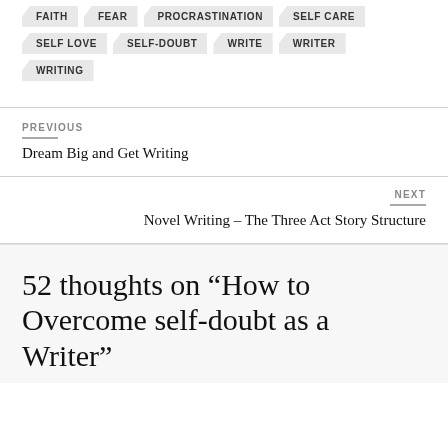FAITH
FEAR
PROCRASTINATION
SELF CARE
SELF LOVE
SELF-DOUBT
WRITE
WRITER
WRITING
PREVIOUS
Dream Big and Get Writing
NEXT
Novel Writing – The Three Act Story Structure
52 thoughts on “How to Overcome self-doubt as a Writer”